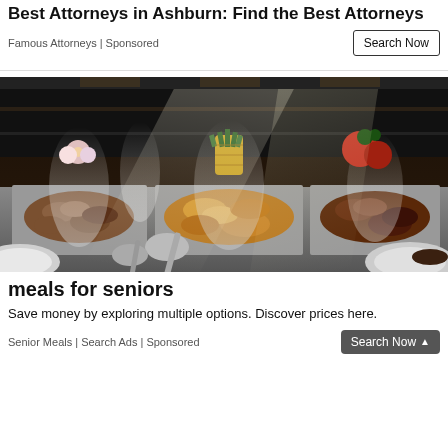Best Attorneys in Ashburn: Find the Best Attorneys
Famous Attorneys | Sponsored
[Figure (photo): A buffet spread with steaming food trays containing various dishes, including what appears to be meat and vegetable dishes. A pineapple and floral decorations are visible in the background. Large serving spoons and plates are in the foreground.]
meals for seniors
Save money by exploring multiple options. Discover prices here.
Senior Meals | Search Ads | Sponsored